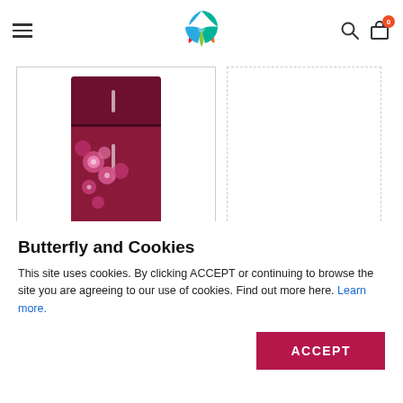[Figure (logo): Colorful diamond/leaf logo with blue, teal, orange, red, green segments]
[Figure (photo): Dark red/maroon refrigerator with pink floral design on front]
[Figure (photo): Small white appliance visible in comparison card]
Butterfly and Cookies
This site uses cookies. By clicking ACCEPT or continuing to browse the site you are agreeing to our use of cookies. Find out more here. Learn more.